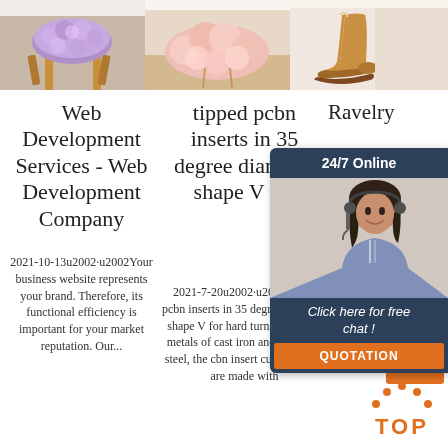[Figure (photo): Three product images in a row: a purple fluffy stool, a pink fluffy rug/cushion, and a tan/brown boot]
Web Development Services - Web Development Company
2021-10-13u2002·u2002Your business website represents your brand. Therefore, its functional efficiency is important for your market reputation. Our...
tipped pcbn inserts in 35 degree diamond shape V for
2021-7-20u2002·u2002tipped pcbn inserts in 35 degree diamond shape V for hard turning ferrous metals of cast iron and hardened steel, the cbn insert cutting edges are made with
Ravelry
Ra... commu... organiz... and pattern... kni... cro...
[Figure (other): Chat widget overlay with dark blue header '24/7 Online', photo of a woman with headset, text 'Click here for free chat!', and orange QUOTATION button]
[Figure (other): Orange TOP badge with dots above it in orange]
[Figure (other): Orange G button]